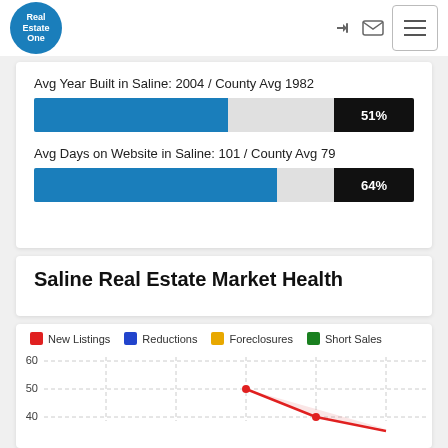[Figure (logo): Real Estate One circular blue logo]
Avg Year Built in Saline: 2004 / County Avg 1982
[Figure (bar-chart): Avg Year Built in Saline: 2004 / County Avg 1982]
Avg Days on Website in Saline: 101 / County Avg 79
[Figure (bar-chart): Avg Days on Website in Saline: 101 / County Avg 79]
Saline Real Estate Market Health
[Figure (line-chart): Line chart showing New Listings (red), Reductions (blue), Foreclosures (orange), Short Sales (green). Y-axis: 40-60 visible. Lines show trends, New Listings peaks near 51 then drops to ~37.]